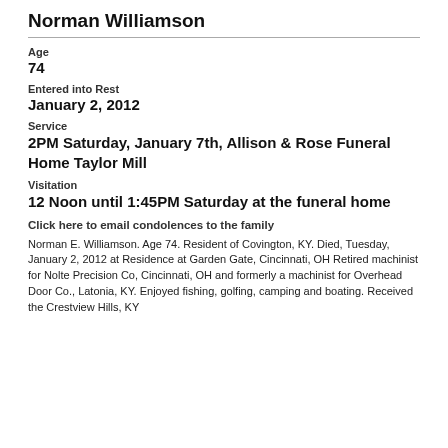Norman Williamson
Age
74
Entered into Rest
January 2, 2012
Service
2PM Saturday, January 7th, Allison & Rose Funeral Home Taylor Mill
Visitation
12 Noon until 1:45PM Saturday at the funeral home
Click here to email condolences to the family
Norman E. Williamson. Age 74. Resident of Covington, KY. Died, Tuesday, January 2, 2012 at Residence at Garden Gate, Cincinnati, OH Retired machinist for Nolte Precision Co, Cincinnati, OH and formerly a machinist for Overhead Door Co., Latonia, KY. Enjoyed fishing, golfing, camping and boating. Received the Crestview Hills, KY